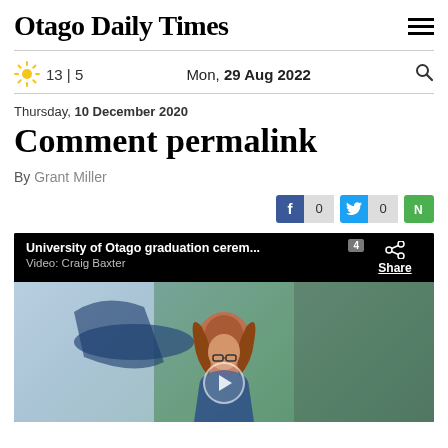Otago Daily Times
13 | 5   Mon, 29 Aug 2022
Thursday, 10 December 2020
Comment permalink
By Grant Miller
[Figure (screenshot): Social share buttons: Facebook count 0, Twitter count 0, Newsroom icon]
[Figure (photo): Video player showing University of Otago graduation ceremony. Video credit: Craig Baxter. Shows a woman with red hair and glasses outdoors. Share button top right. Counter showing 4.]